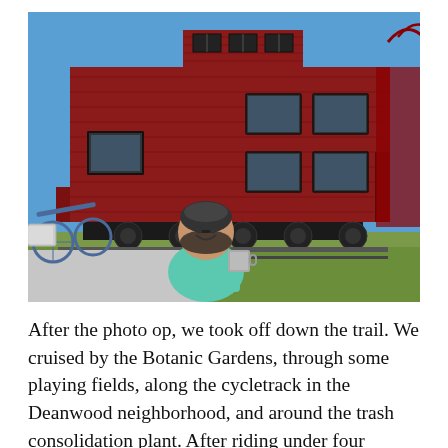[Figure (photo): A woman in a teal jacket and bicycle helmet holds up a metal mug and smiles in front of a large red vintage train caboose. A loaded bicycle is visible to her left. The setting appears to be an outdoor area with green grass and a clear blue sky.]
After the photo op, we took off down the trail. We cruised by the Botanic Gardens, through some playing fields, along the cycletrack in the Deanwood neighborhood, and around the trash consolidation plant. After riding under four bridges we crossed